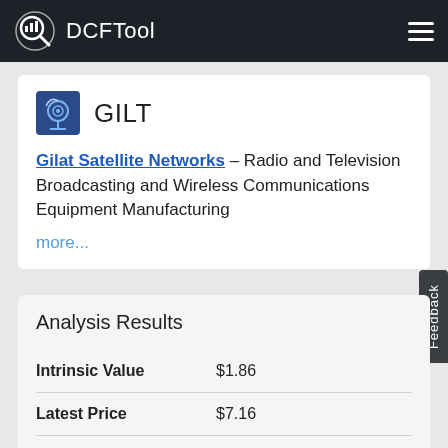DCFTool
GILT
Gilat Satellite Networks – Radio and Television Broadcasting and Wireless Communications Equipment Manufacturing
more...
Analysis Results
|  |  |
| --- | --- |
| Intrinsic Value | $1.86 |
| Latest Price | $7.16 |
| Relative Value | 285% overvalued |